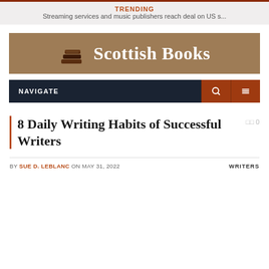TRENDING
Streaming services and music publishers reach deal on US s...
[Figure (logo): Scottish Books logo banner with book stack icon and text 'Scottish Books' on tan/brown background]
NAVIGATE
8 Daily Writing Habits of Successful Writers
BY SUE D. LEBLANC ON MAY 31, 2022     WRITERS